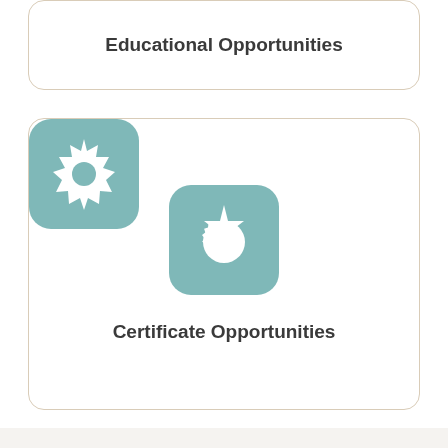Educational Opportunities
[Figure (illustration): Teal rounded square icon with a white gear/badge star symbol in the center]
Certificate Opportunities
JOIN
Quality Services To